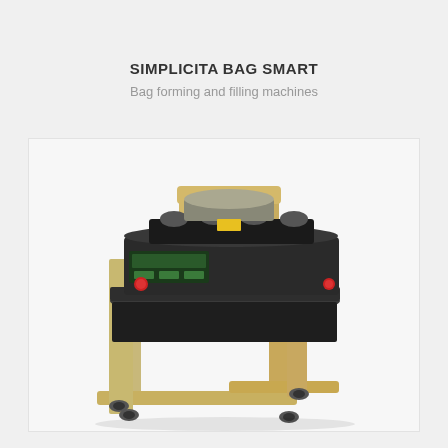SIMPLICITA BAG SMART
Bag forming and filling machines
[Figure (photo): Simplicita Bag Smart machine — a bag forming and filling machine mounted on a tan/beige metal stand with casters, featuring a black mechanical assembly on top with rollers and controls including a red emergency stop button.]